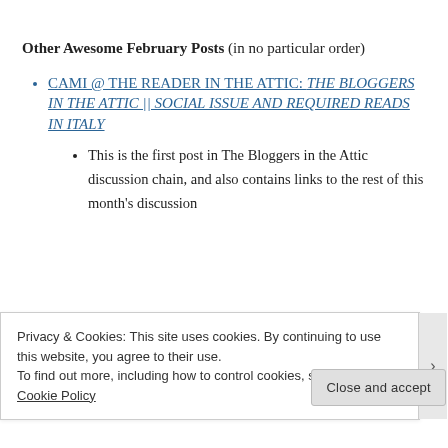Other Awesome February Posts (in no particular order)
CAMI @ THE READER IN THE ATTIC: THE BLOGGERS IN THE ATTIC || SOCIAL ISSUE AND REQUIRED READS IN ITALY
This is the first post in The Bloggers in the Attic discussion chain, and also contains links to the rest of this month's discussion
Privacy & Cookies: This site uses cookies. By continuing to use this website, you agree to their use.
To find out more, including how to control cookies, see here: Cookie Policy
Close and accept